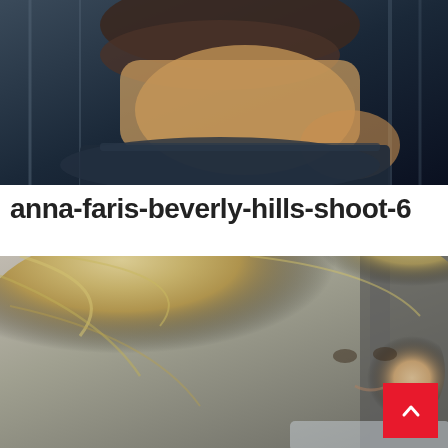[Figure (photo): Cropped photo showing the midriff and jeans of a person, wearing a dark ruffled top and low-rise jeans, with metal railing in the background.]
anna-faris-beverly-hills-shoot-6
[Figure (photo): Photo of a blonde woman with wind-blown hair, slightly open mouth, wearing a light-colored top, photographed outdoors in Beverly Hills.]